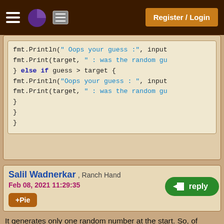Register / Login
[Figure (screenshot): Code block showing Go language snippet with fmt.Println and else if statements]
Salil Wadnerkar , Ranch Hand
Feb 08, 2021 11:29:35
+Pie
It generates only one random number at the start. So, of course, it will stay the same throughout the life of the program.
Fred Masen , Ranch Hand
Feb 08, 2021 11:33:47